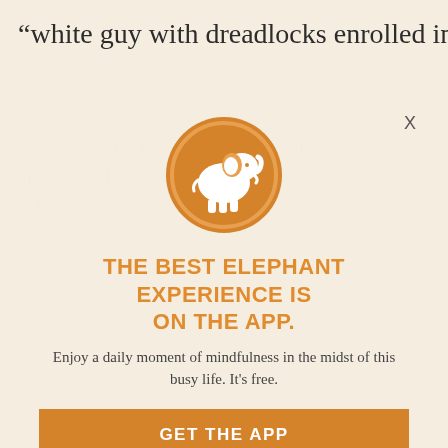“white guy with dreadlocks enrolled in a
psychouli-soaked bohemian gal burning the midnight oil for a copy biology exam...
[Figure (logo): Circular orange badge with white elephant silhouette in the center]
THE BEST ELEPHANT EXPERIENCE IS ON THE APP.
Enjoy a daily moment of mindfulness in the midst of this busy life. It's free.
GET THE APP
OPEN IN APP